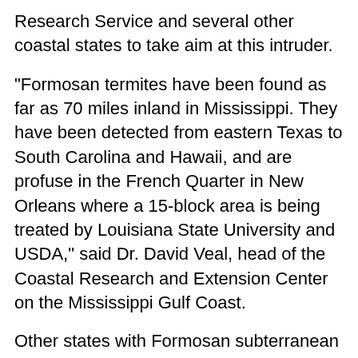Research Service and several other coastal states to take aim at this intruder.
"Formosan termites have been found as far as 70 miles inland in Mississippi. They have been detected from eastern Texas to South Carolina and Hawaii, and are profuse in the French Quarter in New Orleans where a 15-block area is being treated by Louisiana State University and USDA," said Dr. David Veal, head of the Coastal Research and Extension Center on the Mississippi Gulf Coast.
Other states with Formosan subterranean termites, Coptotermes formosanus, infestations are doing similar research, but MSU is also exploring how Formosans may be moving into forests and other wooded areas.
The MSU investigation team has spent the past year studying the insect in South Mississippi. Heading up the state's investigations is USDA ARS-Stoneville